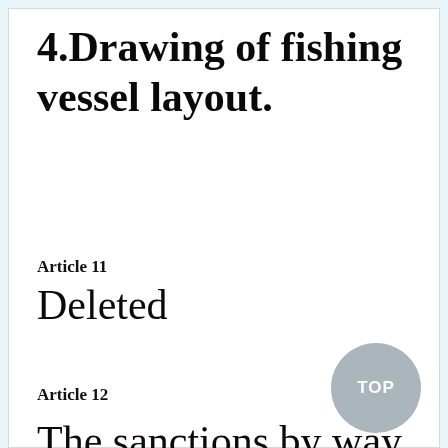4.Drawing of fishing vessel layout.
Article 11
Deleted
Article 12
The sanctions by way of